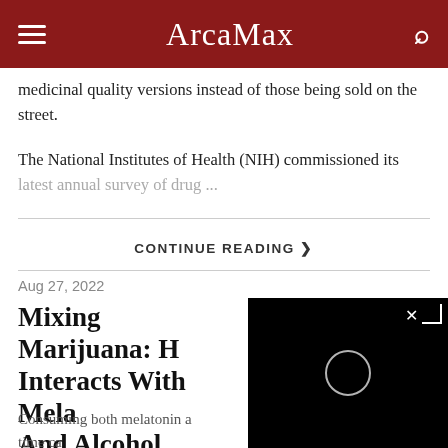ArcaMax
medicinal quality versions instead of those being sold on the street.
The National Institutes of Health (NIH) commissioned its latest annual survey of drug ...
CONTINUE READING ›
Aug 27, 2022
Mixing Marijuana: How Cannabis Interacts With Melatonin And Alcohol
Consuming both melatonin a... same time ca... sedate